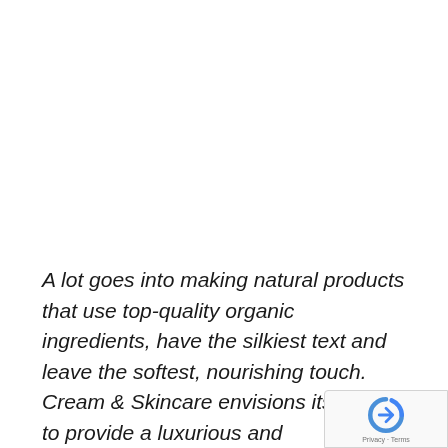A lot goes into making natural products that use top-quality organic ingredients, have the silkiest text and leave the softest, nourishing touch. Cream & Skincare envisions its range to provide a luxurious and